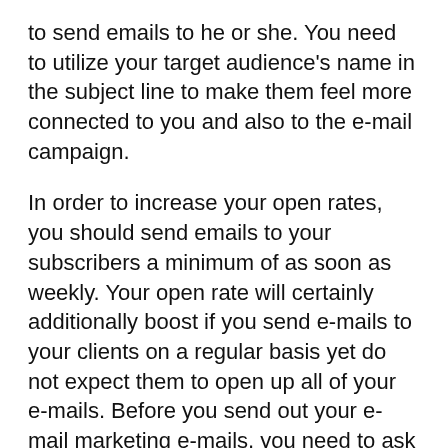to send emails to he or she. You need to utilize your target audience's name in the subject line to make them feel more connected to you and also to the e-mail campaign.
In order to increase your open rates, you should send emails to your subscribers a minimum of as soon as weekly. Your open rate will certainly additionally boost if you send e-mails to your clients on a regular basis yet do not expect them to open up all of your e-mails. Before you send out your e-mail marketing e-mails, you need to ask your clients to see your internet site for the latest offers as well as promos to ensure that they can be revealed to new product or services.